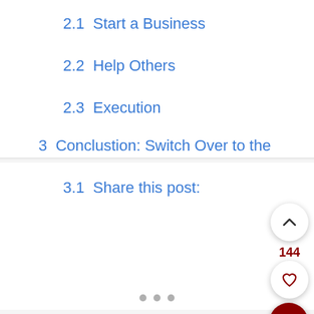2.1  Start a Business
2.2  Help Others
2.3  Execution
3  Conclustion: Switch Over to the Fastlane Life
3.1  Share this post: